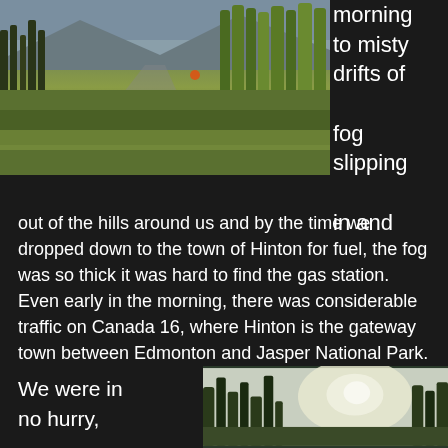[Figure (photo): Landscape photograph showing a road or path through green meadow grasses with conifer and deciduous trees on the sides, hills in the background, misty/overcast sky]
morning to misty drifts of fog slipping in and out of the hills around us and by the time we dropped down to the town of Hinton for fuel, the fog was so thick it was hard to find the gas station.  Even early in the morning, there was considerable traffic on Canada 16, where Hinton is the gateway town between Edmonton and Jasper National Park.
We were in no hurry,
[Figure (photo): Photograph showing trees silhouetted against a bright hazy sky with sun visible through overcast clouds]